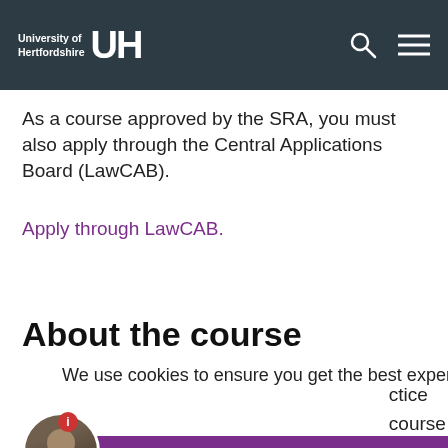University of Hertfordshire UH
As a course approved by the SRA, you must also apply through the Central Applications Board (LawCAB).
Apply through LawCAB.
About the course
We use cookies to ensure you get the best experience on our website. Learn more
Got it!